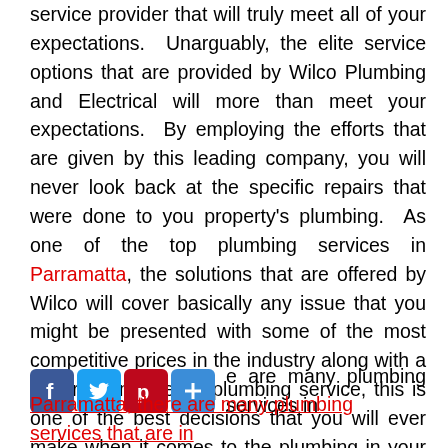service provider that will truly meet all of your expectations. Unarguably, the elite service options that are provided by Wilco Plumbing and Electrical will more than meet your expectations. By employing the efforts that are given by this leading company, you will never look back at the specific repairs that were done to you property's plumbing. As one of the top plumbing services in Parramatta, the solutions that are offered by Wilco will cover basically any issue that you might be presented with some of the most competitive prices in the industry along with a superior emergency plumbing service, this is one of the best decisions that you will ever make when it comes to the plumbing in your property.
there are many plumbing services in Parramatta, the...